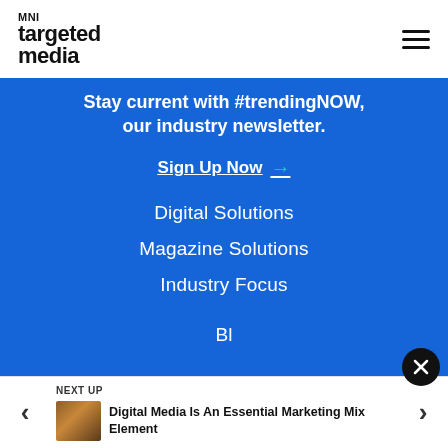[Figure (logo): MNI Targeted Media logo — 'MNI' in small caps above 'targeted' in bold large text, then 'media' in bold large text]
Stay current with #trendingNOW, our industry newsletter.
Sign Up Now →
Digital Solutions
Magazine Solutions
Industry Focus
Bl...
NEXT UP
Digital Media Is An Essential Marketing Mix Element